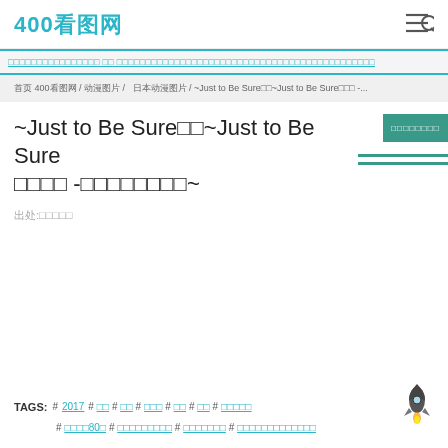400看图网
（广告横幅文字）
首页 400看图网 / 动漫图片 / 日本动漫图片 / ~Just to Be Sure□□~Just to Be Sure□□□ -...
□□□□□□□□
~Just to Be Sure□□~Just to Be Sure□□□□ -□□□□□□□□~
出处:□□□□□
TAGS: # 2017 # □□ # □□ # □□□ # □□ # □□ # □□□□□ # □□□□80□ # □□□□□□□□□ # □□□□□□□ # □□□□□□□□□□□□□